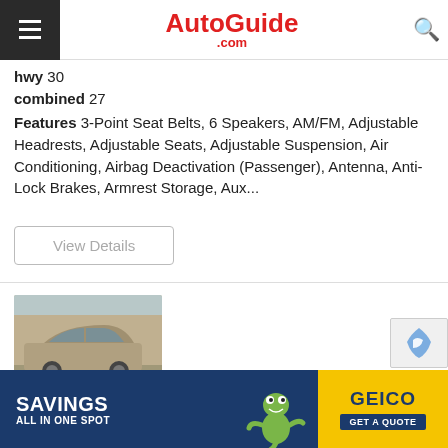AutoGuide.com
hwy 30
combined 27
Features 3-Point Seat Belts, 6 Speakers, AM/FM, Adjustable Headrests, Adjustable Seats, Adjustable Suspension, Air Conditioning, Airbag Deactivation (Passenger), Antenna, Anti-Lock Brakes, Armrest Storage, Aux...
View Details
[Figure (photo): Photo of a tan/gold 2017 Kia Sorento L SUV in a parking lot]
14 photos
2017 KIA SORENTO L
Mileage: 0
[Figure (photo): GEICO advertisement banner: 'SAVINGS ALL IN ONE SPOT' with gecko mascot and 'GET A QUOTE' button]